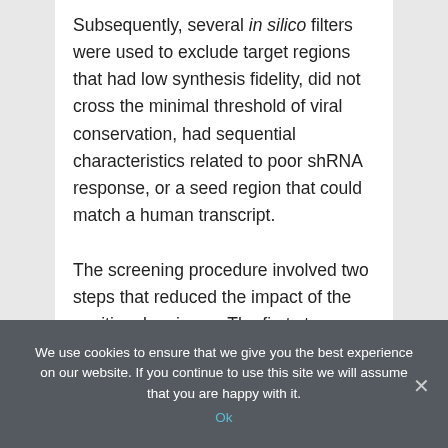Subsequently, several in silico filters were used to exclude target regions that had low synthesis fidelity, did not cross the minimal threshold of viral conservation, had sequential characteristics related to poor shRNA response, or a seed region that could match a human transcript.
The screening procedure involved two steps that reduced the impact of the positional variance. The first step involved genomic
We use cookies to ensure that we give you the best experience on our website. If you continue to use this site we will assume that you are happy with it.
Ok